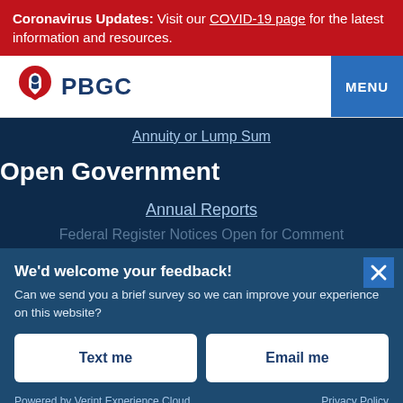Coronavirus Updates: Visit our COVID-19 page for the latest information and resources.
[Figure (logo): PBGC logo with eagle shield icon and PBGC text]
MENU
Annuity or Lump Sum
Open Government
Annual Reports
Federal Register Notices Open for Comment
We'd welcome your feedback!
Can we send you a brief survey so we can improve your experience on this website?
Text me
Email me
Powered by Verint Experience Cloud   Privacy Policy